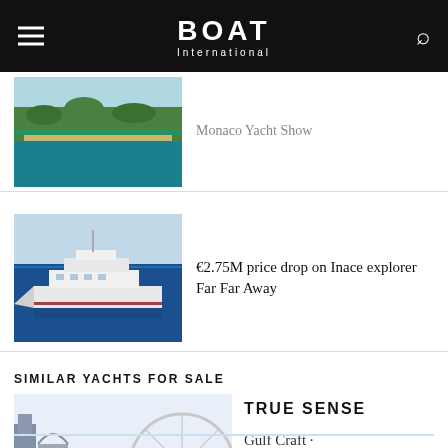BOAT International
[Figure (photo): Aerial view of island/marina with turquoise water]
Monaco Yacht Show
[Figure (photo): White explorer motor yacht at sea]
€2.75M price drop on Inace explorer Far Far Away
SIMILAR YACHTS FOR SALE
[Figure (photo): Motor yacht True Sense by Gulf Craft in harbor with city skyline and Ferris wheel]
TRUE SENSE
Gulf Craft · 37 m · 10 guests · €14,000,000